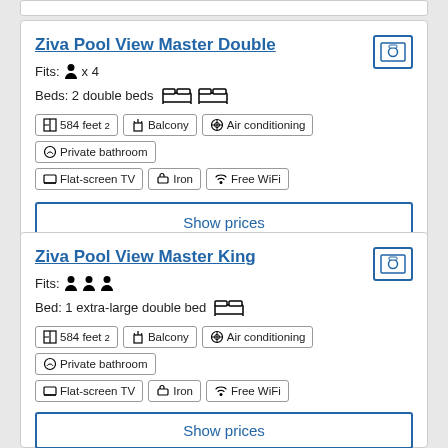Ziva Pool View Master Double
Fits: x 4
Beds: 2 double beds
584 feet²  Balcony  Air conditioning  Private bathroom  Flat-screen TV  Iron  Free WiFi
Show prices
Ziva Pool View Master King
Fits: (3 people icons)
Bed: 1 extra-large double bed
584 feet²  Balcony  Air conditioning  Private bathroom  Flat-screen TV  Iron  Free WiFi